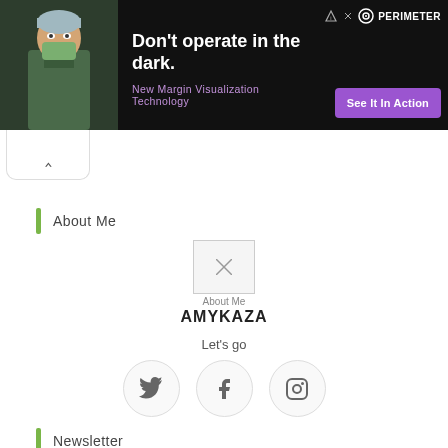[Figure (infographic): Black ad banner for Perimeter medical. Shows surgeon in scrubs on left, headline 'Don't operate in the dark.' in white bold text, subtitle 'New Margin Visualization Technology' in purple, Perimeter logo and 'See It In Action' purple CTA button on right.]
Don't operate in the dark.
New Margin Visualization Technology
PERIMETER
See It In Action
About Me
[Figure (photo): Broken image placeholder labeled 'About Me']
AMYKAZA
Let's go
[Figure (infographic): Row of three circular social media buttons: Twitter, Facebook, Instagram]
Newsletter